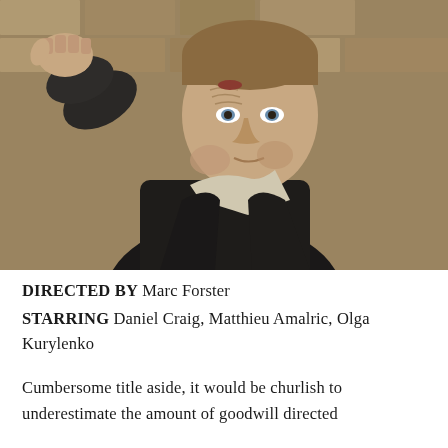[Figure (photo): A man in a dark jacket in a tense action pose reaching forward with fist toward camera, against a stone brick wall background. The man has short brown hair, blue eyes, and a cut on his forehead.]
DIRECTED BY Marc Forster
STARRING Daniel Craig, Matthieu Amalric, Olga Kurylenko
Cumbersome title aside, it would be churlish to underestimate the amount of goodwill directed